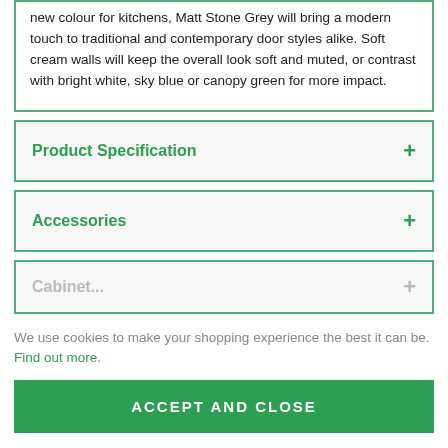new colour for kitchens, Matt Stone Grey will bring a modern touch to traditional and contemporary door styles alike. Soft cream walls will keep the overall look soft and muted, or contrast with bright white, sky blue or canopy green for more impact.
Product Specification
Accessories
Cabinet...
We use cookies to make your shopping experience the best it can be. Find out more.
ACCEPT AND CLOSE
CUSTOM SETTINGS